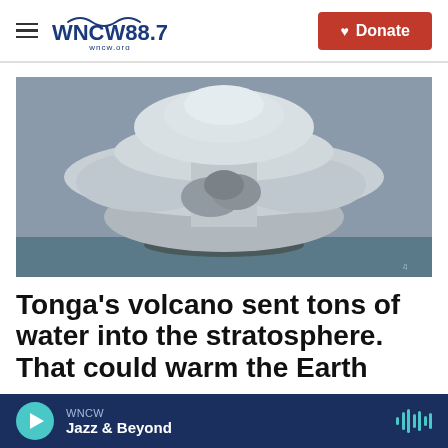WNCW 88.7 | wncw.org | Donate
[Figure (photo): Large volcanic eruption cloud rising dramatically above the ocean, black and white/gray tones showing massive ash plume from Tonga volcano]
Tonga's volcano sent tons of water into the stratosphere. That could warm the Earth
WNCW — Jazz & Beyond (audio player bar)